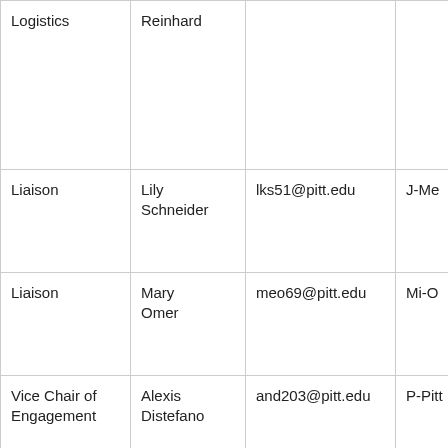| Role | Name | Email | Section | Availability |
| --- | --- | --- | --- | --- |
| Logistics | Reinhard |  |  | Thu
11am
12pm
3pm |
| Liaison | Lily Schneider | lks51@pitt.edu | J-Me | TBD |
| Liaison | Mary Omer | meo69@pitt.edu | Mi-O | Tues.
12:30 |
| Vice Chair of Engagement | Alexis Distefano | and203@pitt.edu | P-Pitt | Tues
3:00,
11:00 |
| Liaison | Sarah Mayer | sjm189@pitt.edu | Pittsburgh-R | Mon:
5:30 T
4:15 A
Wed:
6:30 |
| Liaison | Nicholas Cassano | nfc17@pitt.edu | S | Mon/
2-3,
Tues |